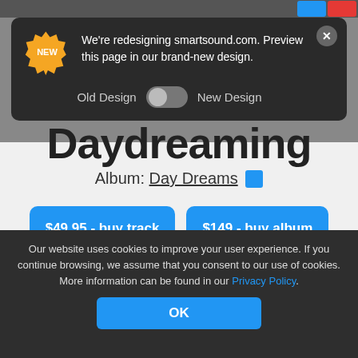[Figure (screenshot): Top bar with blue and red social media buttons on dark background]
We're redesigning smartsound.com. Preview this page in our brand-new design.
Old Design  New Design
Daydreaming
Album: Day Dreams
$49.95 - buy track
$149 - buy album
Our website uses cookies to improve your user experience. If you continue browsing, we assume that you consent to our use of cookies. More information can be found in our Privacy Policy.
OK